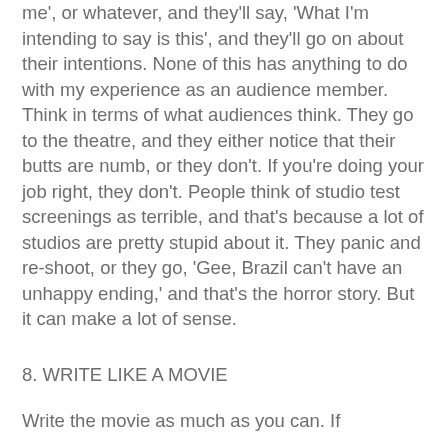me', or whatever, and they'll say, 'What I'm intending to say is this', and they'll go on about their intentions. None of this has anything to do with my experience as an audience member. Think in terms of what audiences think. They go to the theatre, and they either notice that their butts are numb, or they don't. If you're doing your job right, they don't. People think of studio test screenings as terrible, and that's because a lot of studios are pretty stupid about it. They panic and re-shoot, or they go, 'Gee, Brazil can't have an unhappy ending,' and that's the horror story. But it can make a lot of sense.
8. WRITE LIKE A MOVIE
Write the movie as much as you can. If